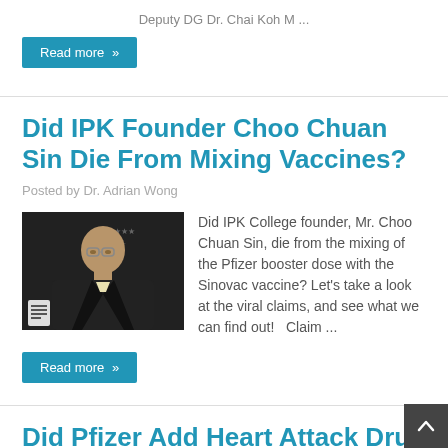Deputy DG Dr. Chai Koh M ...
Read more »
Did IPK Founder Choo Chuan Sin Die From Mixing Vaccines?
Posted by Dr. Adrian Wong
[Figure (photo): Photo of Mr. Choo Chuan Sin in a dark suit, with IPK College logo in the background, and a document icon overlay.]
Did IPK College founder, Mr. Choo Chuan Sin, die from the mixing of the Pfizer booster dose with the Sinovac vaccine? Let's take a look at the viral claims, and see what we can find out!   Claim ...
Read more »
Did Pfizer Add Heart Attack Drug To COVID Vaccine For Kids?